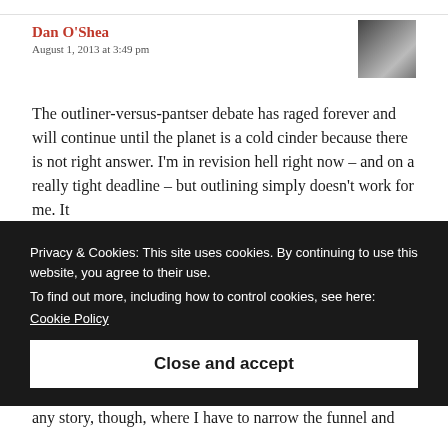Dan O'Shea
August 1, 2013 at 3:49 pm
The outliner-versus-pantser debate has raged forever and will continue until the planet is a cold cinder because there is not right answer. I'm in revision hell right now – and on a really tight deadline – but outlining simply doesn't work for me. It
Privacy & Cookies: This site uses cookies. By continuing to use this website, you agree to their use.
To find out more, including how to control cookies, see here:
Cookie Policy
Close and accept
any story, though, where I have to narrow the funnel and